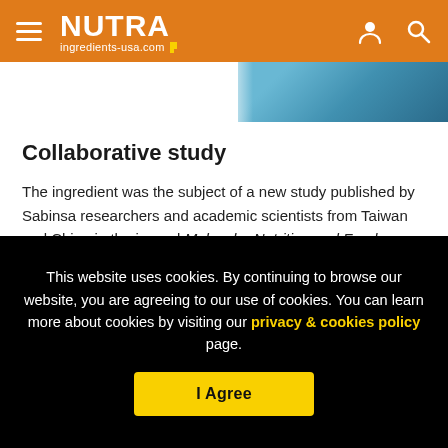NUTRA ingredients-usa.com
[Figure (photo): Partial photo strip showing a person in blue/teal clothing, cropped at top of page below header]
Collaborative study
The ingredient was the subject of a new study published by Sabinsa researchers and academic scientists from Taiwan and China in the journal Molecular Nutrition and Food Research.
The joint study suggests cardioprotective properties in
This website uses cookies. By continuing to browse our website, you are agreeing to our use of cookies. You can learn more about cookies by visiting our privacy & cookies policy page.